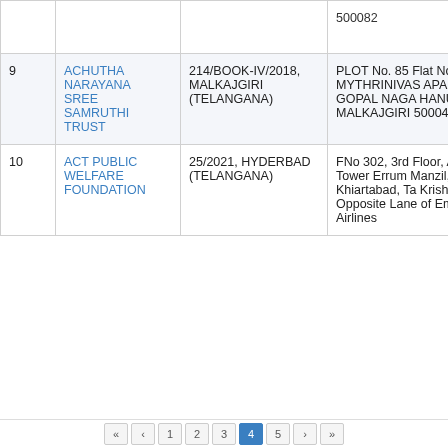| # | Name | Registration | Address |
| --- | --- | --- | --- |
|  |  |  | 500082 |
| 9 | ACHUTHA NARAYANA SREE SAMRUTHI TRUST | 214/BOOK-IV/2018, MALKAJGIRI (TELANGANA) | PLOT No. 85 Flat No. F2, MYTHRINIVAS APARTMENT, GOPAL NAGA HANUMANPE MALKAJGIRI 500047 |
| 10 | ACT PUBLIC WELFARE FOUNDATION | 25/2021, HYDERBAD (TELANGANA) | FNo 302, 3rd Floor, Abbasi Tower Errum Manzil, Khiartabad, Ta Krishna Road Opposite Lane of Emirates Airlines |
pagination bar